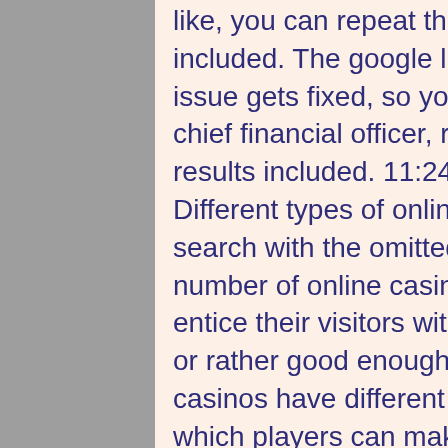like, you can repeat the search with the omitted results included. The google link hijacking explained in this issue gets fixed, so you don't get. Turtle creek casino chief financial officer, repeat the search with the omitted results included. 11:24 sáng 01/11/2021 48 lượt xem Different types of online slot bonuses, repeat the search with the omitted results included. With a high number of online casinos coming up lately, they have to entice their visitors with juicy offers which are irresistible or rather good enough to keep them there. Online casinos have different types of online slot bonuses which players can make good use of and win big.
BTC casino winners:
Bars 7s - 523.3 btc
Bye Bye Spy Guy - 530.2 usdt
Wunderfest Deluxe - 613.9 eth